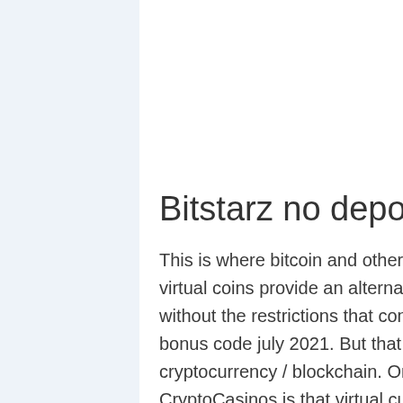Bitstarz no deposit bonus code july 2021
This is where bitcoin and other cryptocurrencies have come to the rescue. In short, virtual coins provide an alternative way to process payments on casino sites without the restrictions that come with fiat currency processing, bitstarz no deposit bonus code july 2021. But that isn't the only advantage when it comes to cryptocurrency / blockchain. One of the advantages we like best here at CryptoCasinos is that virtual currencies such as Bitcoin are decentralized. This means that they have no connection with governments or banks at all, which puts